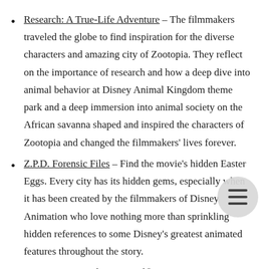Research: A True-Life Adventure – The filmmakers traveled the globe to find inspiration for the diverse characters and amazing city of Zootopia. They reflect on the importance of research and how a deep dive into animal behavior at Disney Animal Kingdom theme park and a deep immersion into animal society on the African savanna shaped and inspired the characters of Zootopia and changed the filmmakers' lives forever.
Z.P.D. Forensic Files – Find the movie's hidden Easter Eggs. Every city has its hidden gems, especially when it has been created by the filmmakers of Disney Animation who love nothing more than sprinkling hidden references to some Disney's greatest animated features throughout the story.
Scoretopia – Academy Award®-winning composer, Michael Giacchino spotlights five of cinema's greatest percussionists